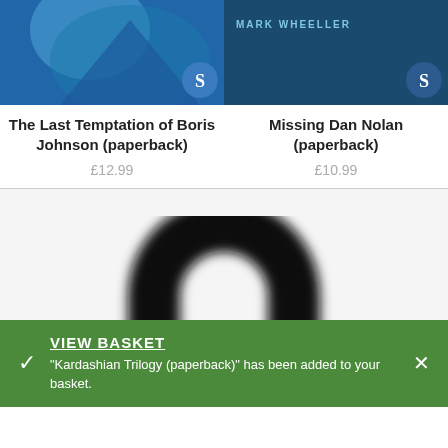[Figure (illustration): Book cover for The Last Temptation of Boris Johnson with blue tones and a scriptura 'S' badge]
The Last Temptation of Boris Johnson (paperback)
£12.99
[Figure (illustration): Book cover for Missing Dan Nolan with dark teal background, MARK WHEELLER author label and scriptura 'S' badge]
Missing Dan Nolan (paperback)
£10.99
[Figure (illustration): Loading spinner or logo icon — large black arch/horseshoe shape on light background, blurred]
VIEW BASKET
"Kardashian Trilogy (paperback)" has been added to your basket.